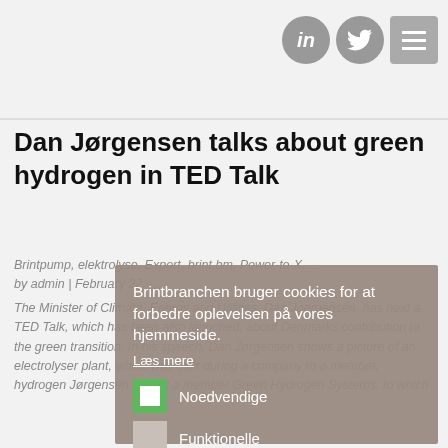Social icons: LinkedIn, Twitter, Menu
Dan Jørgensen talks about green hydrogen in TED Talk
Brintbranchen bruger cookies for at forbedre oplevelsen på vores hjemmeside.
Læs mere
Noedvendige
Funktionelle
Statistiske
Marketing
Gem | Tillad